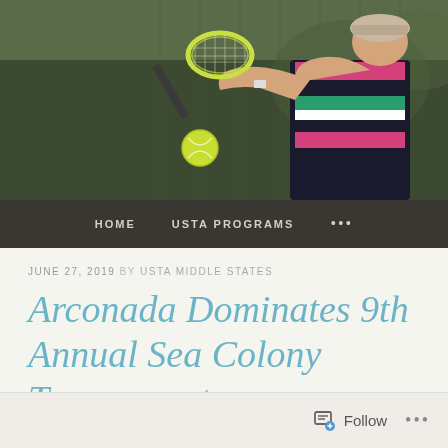[Figure (photo): Young female tennis player mid-swing hitting a backhand, wearing a pink, green, and black striped tennis outfit, holding a yellow-green racket, with a tennis ball visible in the foreground. Background shows a blurred tennis court with chain-link fence.]
HOME   USTA PROGRAMS   ...
JUNE 27, 2019 BY USTA MIDDLE STATES
Arconada Dominates 9th Annual Sea Colony Tournament
Follow   ...